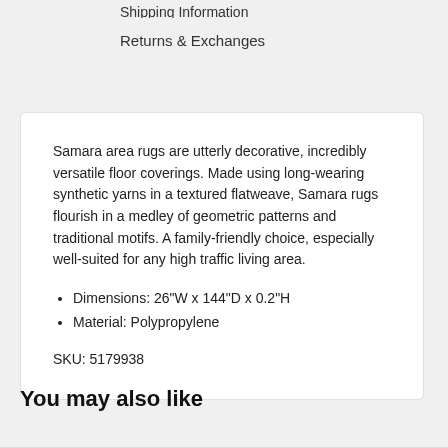Shipping Information
Returns & Exchanges
Samara area rugs are utterly decorative, incredibly versatile floor coverings. Made using long-wearing synthetic yarns in a textured flatweave, Samara rugs flourish in a medley of geometric patterns and traditional motifs. A family-friendly choice, especially well-suited for any high traffic living area.
Dimensions: 26"W x 144"D x 0.2"H
Material: Polypropylene
SKU: 5179938
You may also like